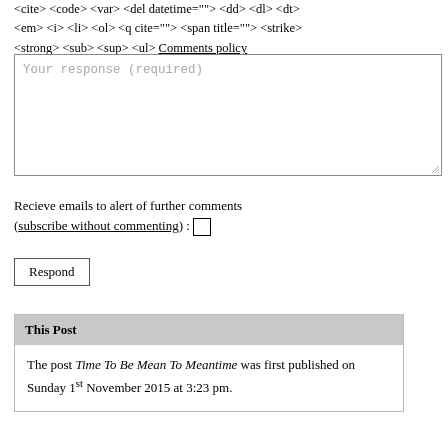<cite> <code> <var> <del datetime=""> <dd> <dl> <dt> <em> <i> <li> <ol> <q cite=""> <span title=""> <strike> <strong> <sub> <sup> <ul> Comments policy
[Figure (other): A large empty textarea input box with placeholder text 'Your response (required)' and a resize handle at the bottom right.]
Recieve emails to alert of further comments (subscribe without commenting) : □
Respond
This Post
The post Time To Be Mean To Meantime was first published on Sunday 1st November 2015 at 3:23 pm.